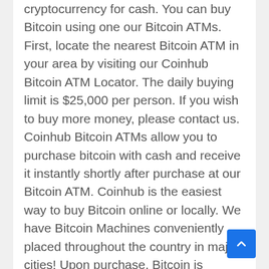cryptocurrency for cash. You can buy Bitcoin using one our Bitcoin ATMs. First, locate the nearest Bitcoin ATM in your area by visiting our Coinhub Bitcoin ATM Locator. The daily buying limit is $25,000 per person. If you wish to buy more money, please contact us. Coinhub Bitcoin ATMs allow you to purchase bitcoin with cash and receive it instantly shortly after purchase at our Bitcoin ATM. Coinhub is the easiest way to buy Bitcoin online or locally. We have Bitcoin Machines conveniently placed throughout the country in major cities! Upon purchase, Bitcoin is instantly sent to your wallet. For purchases over $2,000.00, all you need is a phone and cash. You can finish a transaction in less than two minutes!
This Coinhub Bitcoin ATM located inside of 4 Brothers Smoke Shop located at 1725 W Chapman Ave, Orange, CA 92868, USA allows you to buy Bitcoin at the bitcoin